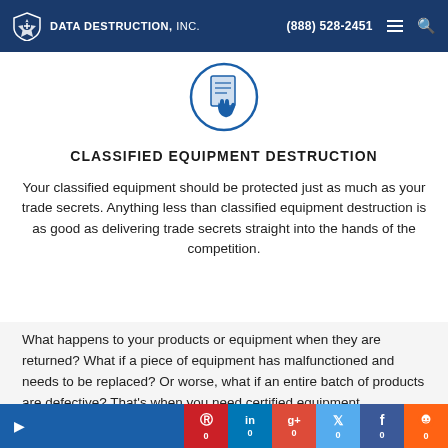DATA DESTRUCTION, INC. | (888) 528-2451
[Figure (illustration): Circular icon with a document and hand holding papers, blue outline on white background]
CLASSIFIED EQUIPMENT DESTRUCTION
Your classified equipment should be protected just as much as your trade secrets. Anything less than classified equipment destruction is as good as delivering trade secrets straight into the hands of the competition.
What happens to your products or equipment when they are returned? What if a piece of equipment has malfunctioned and needs to be replaced? Or worse, what if an entire batch of products are defective? That's when you need certified equipment destruction. Read on and find out why.
0  0  0  0  0  0